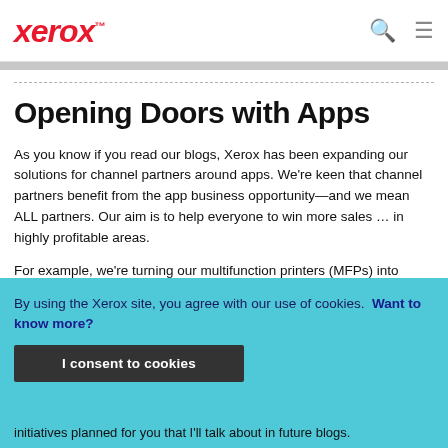xerox™
Opening Doors with Apps
As you know if you read our blogs, Xerox has been expanding our solutions for channel partners around apps. We're keen that channel partners benefit from the app business opportunity—and we mean ALL partners. Our aim is to help everyone to win more sales … in highly profitable areas.
For example, we're turning our multifunction printers (MFPs) into
By using the Xerox site, you agree with our use of cookies. Want to know more?
I consent to cookies
initiatives planned for you that I'll talk about in future blogs.